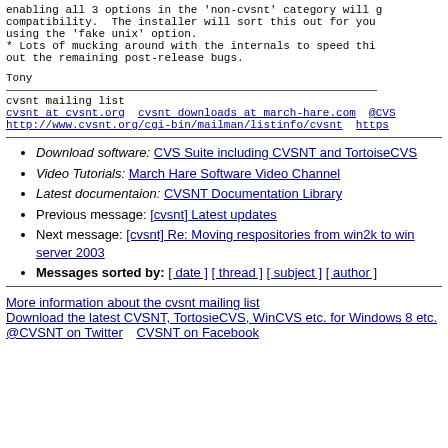enabling all 3 options in the 'non-cvsnt' category will g compatibility.  The installer will sort this out for you using the 'fake unix' option.
* Lots of mucking around with the internals to speed thi out the remaining post-release bugs.
Tony
cvsnt mailing list
cvsnt at cvsnt.org  cvsnt downloads at march-hare.com  @CVS
http://www.cvsnt.org/cgi-bin/mailman/listinfo/cvsnt  https
Download software: CVS Suite including CVSNT and TortoiseCVS
Video Tutorials: March Hare Software Video Channel
Latest documentaion: CVSNT Documentation Library
Previous message: [cvsnt] Latest updates
Next message: [cvsnt] Re: Moving respositories from win2k to win server 2003
Messages sorted by: [ date ] [ thread ] [ subject ] [ author ]
More information about the cvsnt mailing list
Download the latest CVSNT, TortosieCVS, WinCVS etc. for Windows 8 etc.
@CVSNT on Twitter   CVSNT on Facebook